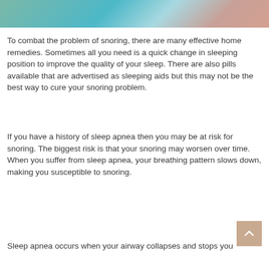[Figure (photo): Partial photo strip at top of page showing a person sleeping, with teal/blue bedding visible]
To combat the problem of snoring, there are many effective home remedies. Sometimes all you need is a quick change in sleeping position to improve the quality of your sleep. There are also pills available that are advertised as sleeping aids but this may not be the best way to cure your snoring problem.
If you have a history of sleep apnea then you may be at risk for snoring. The biggest risk is that your snoring may worsen over time. When you suffer from sleep apnea, your breathing pattern slows down, making you susceptible to snoring.
Sleep apnea occurs when your airway collapses and stops you